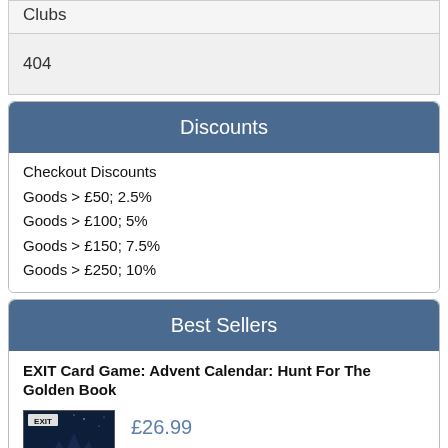Clubs
404
Discounts
Checkout Discounts
Goods > £50; 2.5%
Goods > £100; 5%
Goods > £150; 7.5%
Goods > £250; 10%
Best Sellers
EXIT Card Game: Advent Calendar: Hunt For The Golden Book
[Figure (photo): Product image of EXIT Card Game: Advent Calendar board game box with dark fantasy art]
£26.99